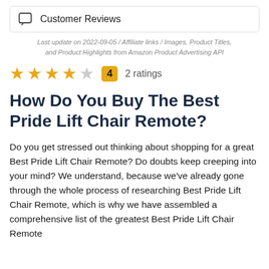Customer Reviews
Last update on 2022-09-05 / Affiliate links / Images, Product Titles, and Product Highlights from Amazon Product Advertising API
★★★★☆  4  2 ratings
How Do You Buy The Best Pride Lift Chair Remote?
Do you get stressed out thinking about shopping for a great Best Pride Lift Chair Remote? Do doubts keep creeping into your mind? We understand, because we've already gone through the whole process of researching Best Pride Lift Chair Remote, which is why we have assembled a comprehensive list of the greatest Best Pride Lift Chair Remote